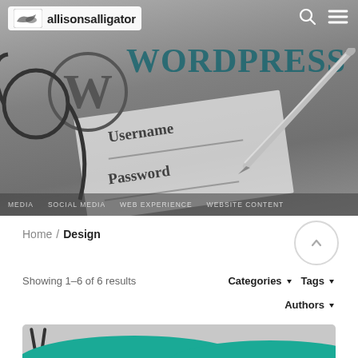[Figure (screenshot): Hero banner showing a WordPress login form with Username and Password fields, a pen resting on a paper, eyeglasses, and the WordPress logo and wordmark in the background. Navigation bar overlay with menu items visible.]
allisonsalligator
Home / Design
Showing 1-6 of 6 results
Categories ▼   Tags ▼
Authors ▼
[Figure (screenshot): Partial teaser card at bottom with teal curved shapes at bottom of a gray card]